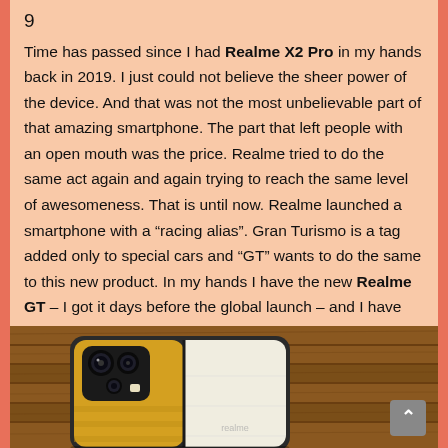9
Time has passed since I had Realme X2 Pro in my hands back in 2019. I just could not believe the sheer power of the device. And that was not the most unbelievable part of that amazing smartphone. The part that left people with an open mouth was the price. Realme tried to do the same act again and again trying to reach the same level of awesomeness. That is until now. Realme launched a smartphone with a “racing alias”. Gran Turismo is a tag added only to special cars and “GT” wants to do the same to this new product. In my hands I have the new Realme GT – I got it days before the global launch – and I have been using it as my main Android device for two weeks now.
[Figure (photo): Photo of a Realme GT smartphone with yellow and white back cover lying on a wooden surface, camera module visible]